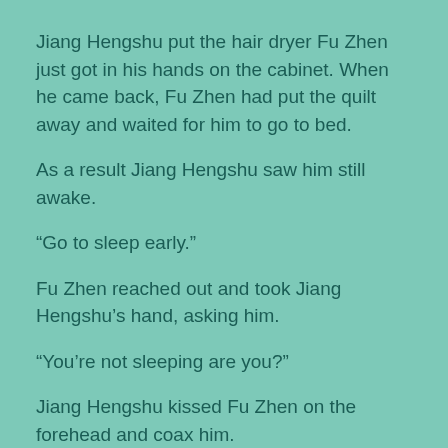Jiang Hengshu put the hair dryer Fu Zhen just got in his hands on the cabinet. When he came back, Fu Zhen had put the quilt away and waited for him to go to bed.
As a result Jiang Hengshu saw him still awake.
“Go to sleep early.”
Fu Zhen reached out and took Jiang Hengshu’s hand, asking him.
“You’re not sleeping are you?”
Jiang Hengshu kissed Fu Zhen on the forehead and coax him.
“Be good, I’ll go and make a phone call to my